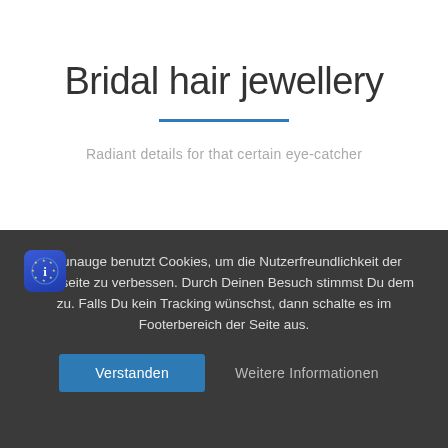Bridal hair jewellery
Radiant details for that certain eye-catcher
Faunauge benutzt Cookies, um die Nutzerfreundlichkeit der Webseite zu verbessen. Durch Deinen Besuch stimmst Du dem zu. Falls Du kein Tracking wünschst, dann schalte es im Footerbereich der Seite aus.
Verstanden
Weitere Informationen